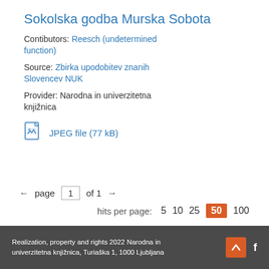Sokolska godba Murska Sobota
Contibutors: Reesch (undetermined function)
Source: Zbirka upodobitev znanih Slovencev NUK
Provider: Narodna in univerzitetna knjižnica
JPEG file (77 kB)
← page 1 of 1 →
hits per page: 5 10 25 50 100
Realization, property and rights 2022 Narodna in univerzitetna knjižnica, Turiaška 1, 1000 Ljubljana